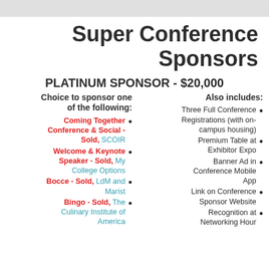Super Conference Sponsors
PLATINUM SPONSOR - $20,000
Choice to sponsor one of the following:
Also includes:
Coming Together Conference & Social - Sold, SCOIR
Welcome & Keynote Speaker - Sold, My College Options
Bocce - Sold, LdM and Marist
Bingo - Sold, The Culinary Institute of America
Three Full Conference Registrations (with on-campus housing)
Premium Table at Exhibitor Expo
Banner Ad in Conference Mobile App
Link on Conference Sponsor Website
Recognition at Networking Hour